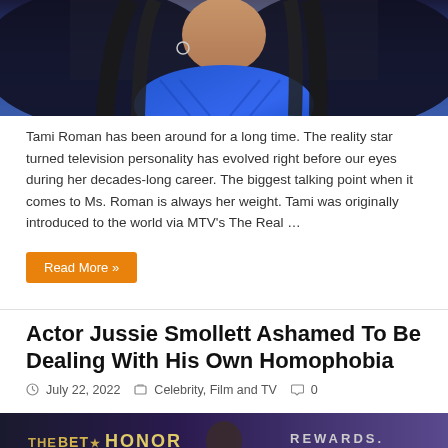[Figure (photo): Woman with long dark hair wearing a blue jacket, appears to be indoors]
Tami Roman has been around for a long time. The reality star turned television personality has evolved right before our eyes during her decades-long career. The biggest talking point when it comes to Ms. Roman is always her weight.  Tami was originally introduced to the world via MTV's The Real …
Read More »
Actor Jussie Smollett Ashamed To Be Dealing With His Own Homophobia
July 22, 2022   Celebrity, Film and TV   0
[Figure (photo): Man at THE BET HONOR REWARDS event, standing in front of signage]